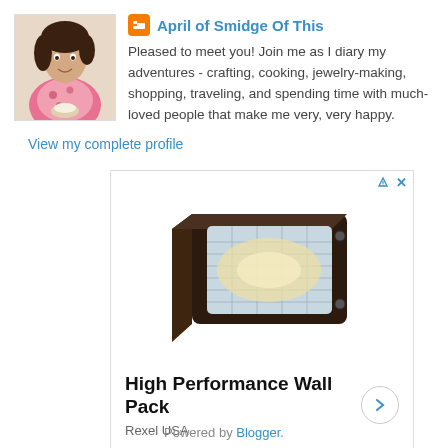[Figure (photo): Profile photo of April, a woman in a floral outfit smiling and posing]
April of Smidge Of This
Pleased to meet you! Join me as I diary my adventures - crafting, cooking, jewelry-making, shopping, traveling, and spending time with much-loved people that make me very, very happy.
View my complete profile
[Figure (photo): Advertisement showing a High Performance Wall Pack lighting fixture (dark brown/bronze rectangular wall pack light with frosted glass lens). Brand: Rexel USA. Product title: High Performance Wall Pack.]
Powered by Blogger.